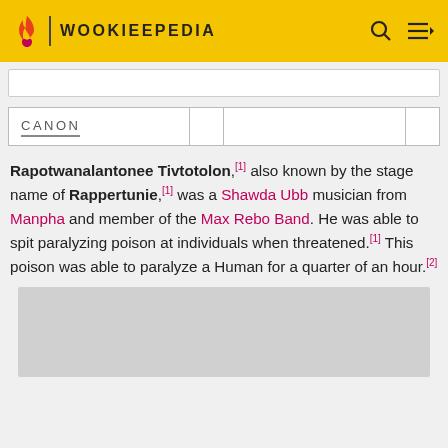WOOKIEEPEDIA
| CANON |  |  |  |
| --- | --- | --- | --- |
|  |
Rapotwanalantonee Tivtotolon,[1] also known by the stage name of Rappertunie,[1] was a Shawda Ubb musician from Manpha and member of the Max Rebo Band. He was able to spit paralyzing poison at individuals when threatened.[1] This poison was able to paralyze a Human for a quarter of an hour.[2]
[Figure (photo): Gray placeholder image at bottom of page]